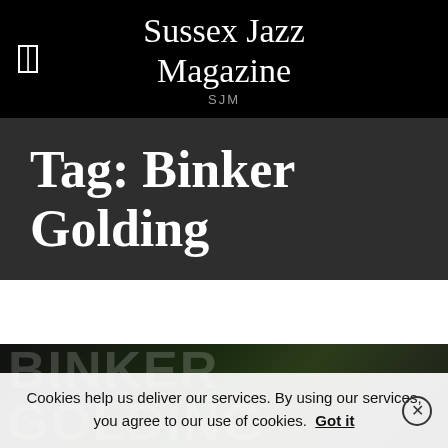Sussex Jazz Magazine
SJM
Tag: Binker Golding
[Figure (photo): Dark background image preview with large faint text 'BINKER GOLDING' overlaid]
Cookies help us deliver our services. By using our services, you agree to our use of cookies. Got it